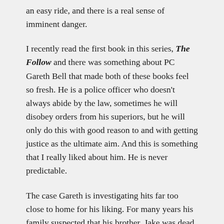an easy ride, and there is a real sense of imminent danger.
I recently read the first book in this series, The Follow and there was something about PC Gareth Bell that made both of these books feel so fresh. He is a police officer who doesn't always abide by the law, sometimes he will disobey orders from his superiors, but he will only do this with good reason to and with getting justice as the ultimate aim. And this is something that I really liked about him. He is never predictable.
The case Gareth is investigating hits far too close to home for his liking. For many years his family suspected that his brother, Jake was dead, but to Gareth's utter bewilderment he discovers he is alive and in a hell of a lot of trouble. And his brother's problems are about to